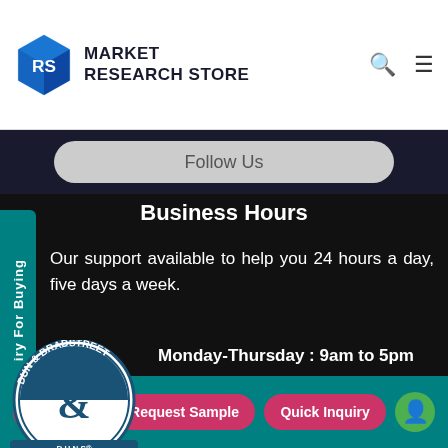MARKET RESEARCH STORE
Follow Us
Business Hours
Our support available to help you 24 hours a day, five days a week.
Monday-Thursday : 9am to 5pm
s to offer you a better browsing experience, ntent and ads, to provide social media features and to analyse our traffic.
[Figure (logo): D-U-N-S Registered badge with Dun & Bradstreet logo]
Buy Now | Request Sample | Quick Inquiry